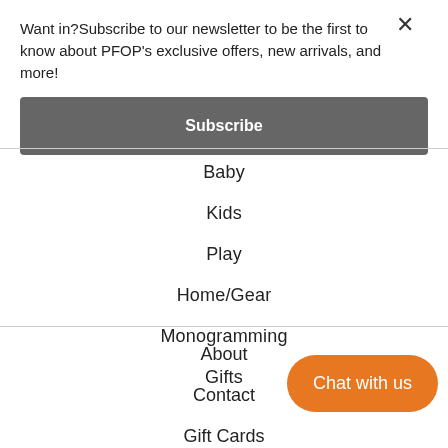Want in?Subscribe to our newsletter to be the first to know about PFOP's exclusive offers, new arrivals, and more!
Subscribe
Baby
Kids
Play
Home/Gear
Monogramming
Gifts
About
Contact
Gift Cards
Chat with us